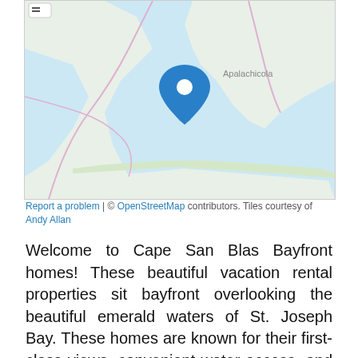[Figure (map): OpenStreetMap showing Cape San Blas area with a blue location pin marker near the coast. The map shows Apalachicola to the right, coastal land with light blue water (St. Joseph Bay). Roads are shown in pink/light purple lines.]
Report a problem | © OpenStreetMap contributors. Tiles courtesy of Andy Allan
Welcome to Cape San Blas Bayfront homes! These beautiful vacation rental properties sit bayfront overlooking the beautiful emerald waters of St. Joseph Bay. These homes are known for their first-class views, convenient water access, and much more. Start planning your vacation to the highly sought-after Cape San Blas and stay in one of these incredible bayfront properties. These homes are perfect for a large family, or group of friends looking to